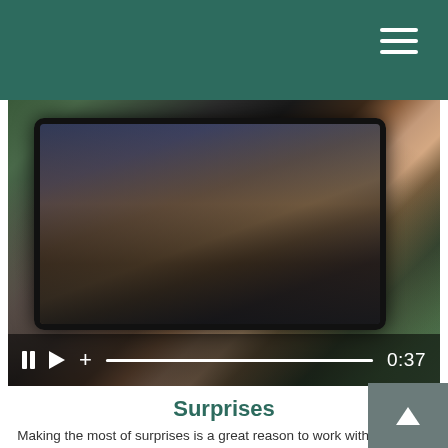Navigation header bar with hamburger menu
[Figure (screenshot): A person holding a tablet device showing a video of people at a meeting/dinner table. The tablet is held in hands wearing a pink knit sweater, with green foliage background. A video player control bar overlays the bottom of the image showing pause, play, volume controls, a progress bar, and a time display of 0:37.]
Surprises
Making the most of surprises is a great reason to work with us.